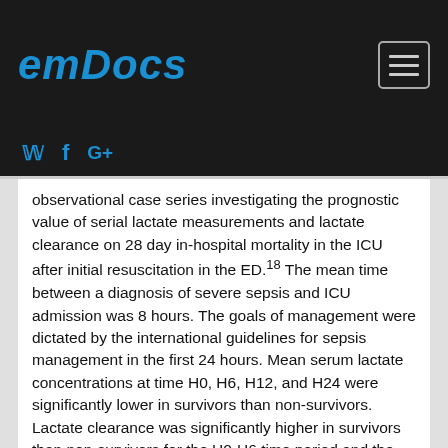emDocs
observational case series investigating the prognostic value of serial lactate measurements and lactate clearance on 28 day in-hospital mortality in the ICU after initial resuscitation in the ED.18 The mean time between a diagnosis of severe sepsis and ICU admission was 8 hours. The goals of management were dictated by the international guidelines for sepsis management in the first 24 hours. Mean serum lactate concentrations at time H0, H6, H12, and H24 were significantly lower in survivors than non-survivors. Lactate clearance was significantly higher in survivors than non-survivors for the H0-H6 time period and the H0-H24 time period as well. They found that lactate clearance for the H0-H24 time period was the best predictor of mortality at day 28, and lactate clearance